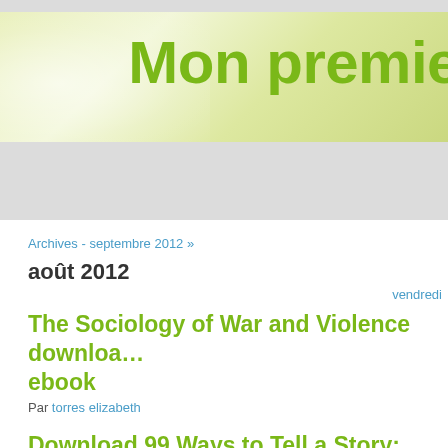[Figure (screenshot): Website header banner with light yellow-green gradient background and decorative shine effect on the left side]
Mon premie
Archives - septembre 2012 »
août 2012
vendredi
The Sociology of War and Violence download ebook
Par torres elizabeth
Download 99 Ways to Tell a Story: Exercises